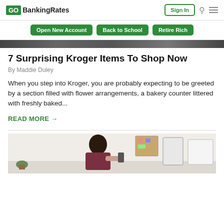GO BankingRates — Sign In
Open New Account
Back to School
Retire Rich
[Figure (photo): Article header image strip (partial, dark/grayscale)]
7 Surprising Kroger Items To Shop Now
By Maddie Duley
When you step into Kroger, you are probably expecting to be greeted by a section filled with flower arrangements, a bakery counter littered with freshly baked...
READ MORE →
[Figure (photo): Partial photo of a person (woman with dark hair) looking at something, office/workspace setting visible]